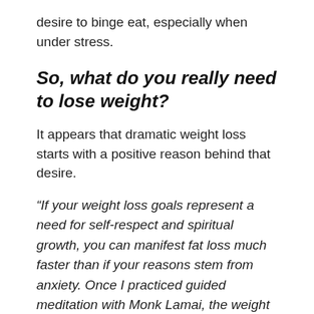desire to binge eat, especially when under stress.
So, what do you really need to lose weight?
It appears that dramatic weight loss starts with a positive reason behind that desire.
“If your weight loss goals represent a need for self-respect and spiritual growth, you can manifest fat loss much faster than if your reasons stem from anxiety. Once I practiced guided meditation with Monk Lamai, the weight melted right off.”